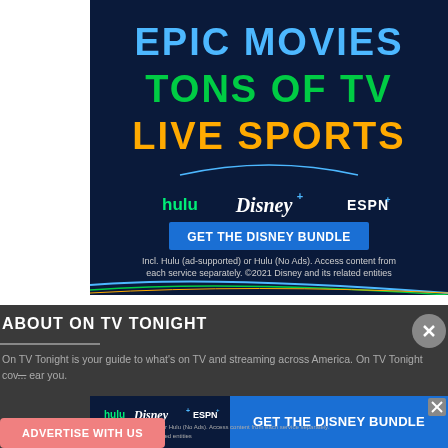[Figure (infographic): Disney Bundle advertisement with dark navy background. Large text reads 'EPIC MOVIES' in blue, 'TONS OF TV' in green, 'LIVE SPORTS' in orange/yellow. Shows Hulu, Disney+, and ESPN+ logos. Blue button says 'GET THE DISNEY BUNDLE'. Disclaimer text: 'Incl. Hulu (ad-supported) or Hulu (No Ads). Access content from each service separately. ©2021 Disney and its related entities']
ABOUT ON TV TONIGHT
On TV Tonight is your guide to what's on TV and streaming across America. On TV Tonight cov... ear you.
[Figure (infographic): Small Disney Bundle banner ad showing Hulu, Disney+, ESPN+ logos on left and 'GET THE DISNEY BUNDLE' button on right with disclaimer text below logos.]
ADVERTISE WITH US